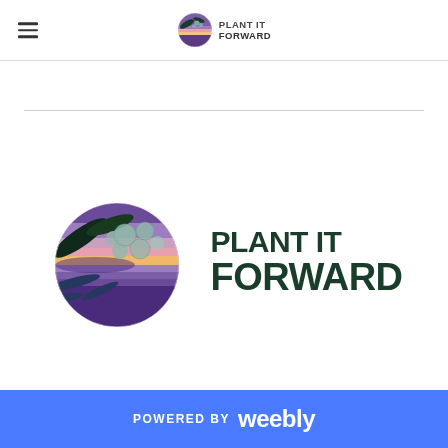PLANT IT FORWARD
[Figure (logo): Plant It Forward logo: circular illustration with eucalyptus leaves, round sage-colored berries, and a landscape with sunset colors (orange, pink, blue, purple) inside the circle. Text reads PLANT IT FORWARD in dark green bold font.]
POWERED BY weebly